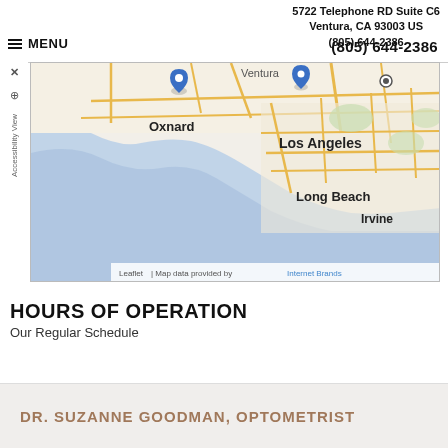5722 Telephone RD Suite C6
Ventura, CA 93003 US
(805) 644-2386
≡ MENU
[Figure (map): Interactive map showing Southern California coastline including Oxnard, Los Angeles, Long Beach, and Irvine with location markers. Attribution: Leaflet | Map data provided by Internet Brands]
HOURS OF OPERATION
Our Regular Schedule
DR. SUZANNE GOODMAN, OPTOMETRIST